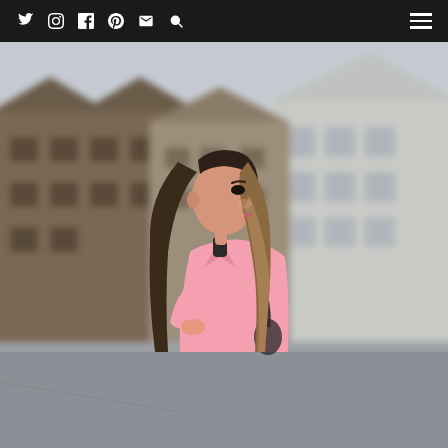Social media navigation bar with Twitter, Instagram, Facebook, Pinterest, Email, Search icons and hamburger menu
[Figure (photo): A young woman with long ombre hair wearing a pink blazer and black top, standing in profile on a city street. Behind her are blurred Victorian-style residential buildings in muted brown and beige tones. The scene is set on an overcast day. The woman appears to be holding a dark handbag.]